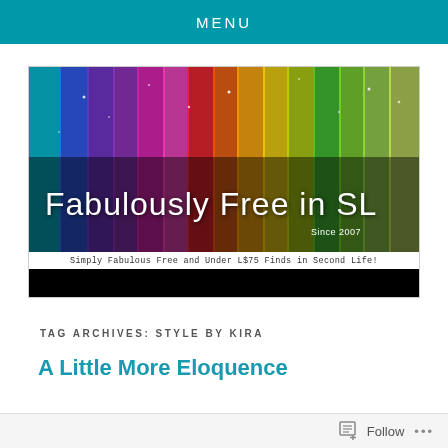MENU
[Figure (illustration): Fabulously Free in SL blog banner with rainbow vertical gradient stripes background, white text reading 'Fabulously Free in SL Since 2007', tagline 'Simply Fabulous Free and Under L$75 Finds in Second Life!' and a black navigation bar below.]
TAG ARCHIVES: STYLE BY KIRA
A Little More Eloquence
Follow ...